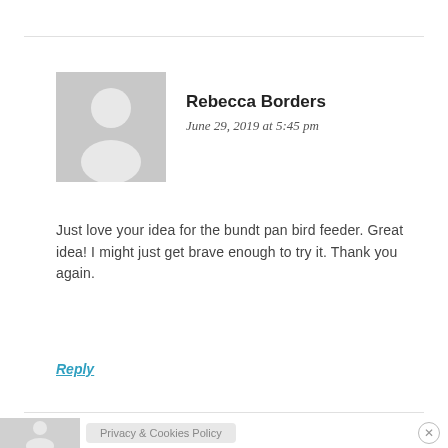[Figure (illustration): Generic user avatar placeholder — grey silhouette of a person on a light grey background]
Rebecca Borders
June 29, 2019 at 5:45 pm
Just love your idea for the bundt pan bird feeder. Great idea! I might just get brave enough to try it. Thank you again.
Reply
[Figure (illustration): Partial grey avatar visible at bottom of page in cookie consent bar]
Privacy & Cookies Policy